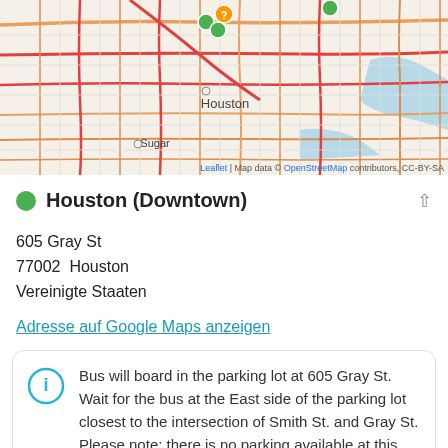[Figure (map): Street map of Houston area showing road network with red/orange major roads, with location markers including green dots and an orange marker near downtown Houston. Labels visible: Houston, Sugar. Map attribution: Leaflet | Map data © OpenStreetMap contributors, CC-BY-SA]
Houston (Downtown)
605 Gray St
77002  Houston
Vereinigte Staaten
Adresse auf Google Maps anzeigen
Bus will board in the parking lot at 605 Gray St. Wait for the bus at the East side of the parking lot closest to the intersection of Smith St. and Gray St. Please note: there is no parking available at this location.